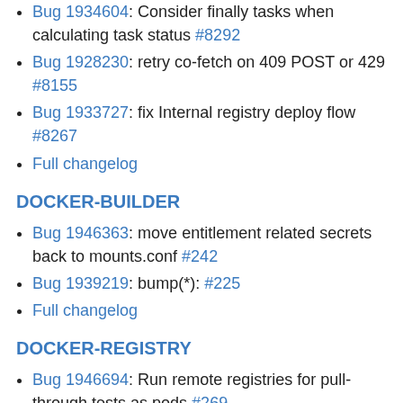Bug 1934604: Consider finally tasks when calculating task status #8292
Bug 1928230: retry co-fetch on 409 POST or 429 #8155
Bug 1933727: fix Internal registry deploy flow #8267
Full changelog
DOCKER-BUILDER
Bug 1946363: move entitlement related secrets back to mounts.conf #242
Bug 1939219: bump(*): #225
Full changelog
DOCKER-REGISTRY
Bug 1946694: Run remote registries for pull-through tests as pods #269
Bug 1930802: Replace bitbucket.org/ww/goautoneg